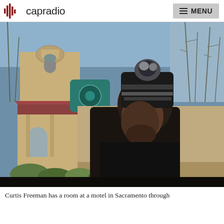capradio  MENU
[Figure (photo): Curtis Freeman, a Black man wearing a black and gray pom-pom beanie hat and a dark jacket, looking downward in front of a motel building with tan stucco walls and a red roof in Sacramento.]
Curtis Freeman has a room at a motel in Sacramento through Project Roomkey. More than 12,000...